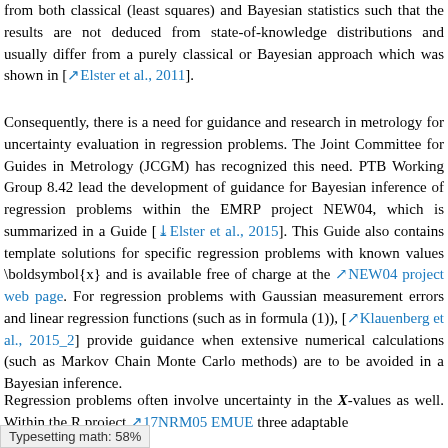from both classical (least squares) and Bayesian statistics such that the results are not deduced from state-of-knowledge distributions and usually differ from a purely classical or Bayesian approach which was shown in [Elster et al., 2011].
Consequently, there is a need for guidance and research in metrology for uncertainty evaluation in regression problems. The Joint Committee for Guides in Metrology (JCGM) has recognized this need. PTB Working Group 8.42 lead the development of guidance for Bayesian inference of regression problems within the EMRP project NEW04, which is summarized in a Guide [Elster et al., 2015]. This Guide also contains template solutions for specific regression problems with known values \boldsymbol{x} and is available free of charge at the NEW04 project web page. For regression problems with Gaussian measurement errors and linear regression functions (such as in formula (1)), [Klauenberg et al., 2015_2] provide guidance when extensive numerical calculations (such as Markov Chain Monte Carlo methods) are to be avoided in a Bayesian inference.
Regression problems often involve uncertainty in the X-values as well. Within the R project 17NRM05 EMUE three adaptable
Typesetting math: 58%